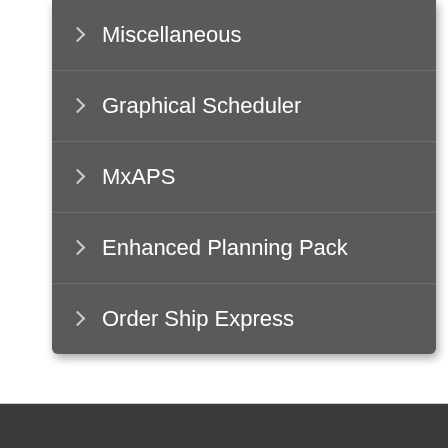Miscellaneous
Graphical Scheduler
MxAPS
Enhanced Planning Pack
Order Ship Express